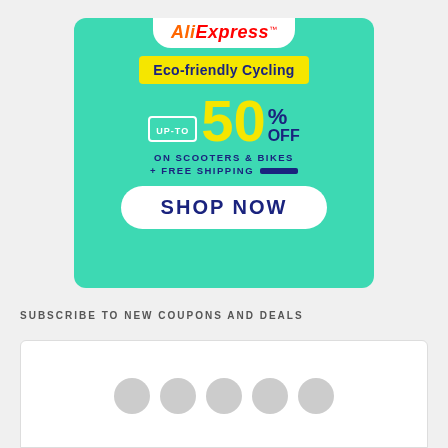[Figure (infographic): AliExpress advertisement banner with teal background. Shows AliExpress logo, 'Eco-friendly Cycling' headline in yellow banner, 'UP-TO 50% OFF ON SCOOTERS & BIKES + FREE SHIPPING' promotional text, and 'SHOP NOW' call-to-action button.]
SUBSCRIBE TO NEW COUPONS AND DEALS